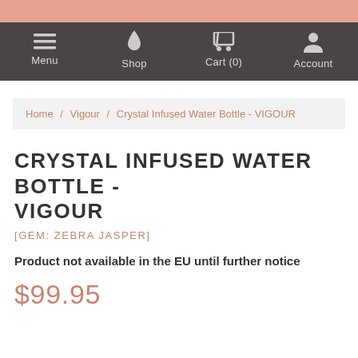Menu  Shop  Cart (0)  Account
Home / Vigour / Crystal Infused Water Bottle - VIGOUR
CRYSTAL INFUSED WATER BOTTLE - VIGOUR
[GEM: ZEBRA JASPER]
Product not available in the EU until further notice
$99.95